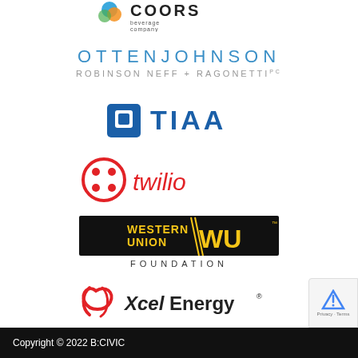[Figure (logo): Molson Coors Beverage Company logo — partial, top of page]
[Figure (logo): Otten Johnson Robinson Neff + Ragonetti law firm logo — blue and gray text]
[Figure (logo): TIAA logo — blue square icon and TIAA text]
[Figure (logo): Twilio logo — red circle icon with dots and twilio red text]
[Figure (logo): Western Union Foundation logo — black rectangle with yellow WU text and FOUNDATION below]
[Figure (logo): Xcel Energy logo — red swirl icon and Xcel Energy text]
Copyright © 2022 B:CIVIC